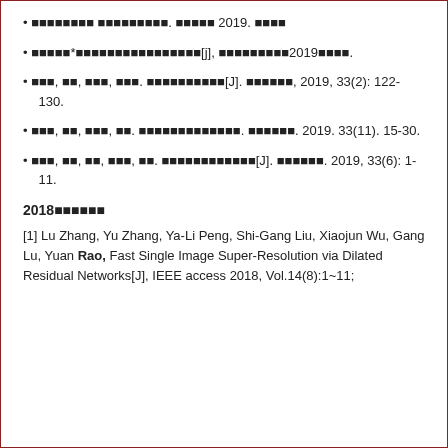• 〔文字内容〕 〔文字内容〕. 〔文字〕 2019. 〔文字〕
• 〔文字〕*〔文字内容〕[j], 〔文字内容〕2019〔文字〕.
• 〔文字〕, 〔文〕, 〔文字〕, 〔文字〕. 〔文字内容〕[J]. 〔文字〕, 2019, 33(2): 122-130.
• 〔文字〕, 〔文〕, 〔文字〕, 〔文〕. 〔文字内容〕. 〔文字〕. 2019. 33(11). 15-30.
• 〔文字〕, 〔文〕, 〔文〕, 〔文字〕, 〔文〕. 〔文字内容〕[J]. 〔文字〕. 2019, 33(6): 1-11.
2018年度论文
[1] Lu Zhang, Yu Zhang, Ya-Li Peng, Shi-Gang Liu, Xiaojun Wu, Gang Lu, Yuan Rao, Fast Single Image Super-Resolution via Dilated Residual Networks[J], IEEE access 2018, Vol.14(8):1~11;